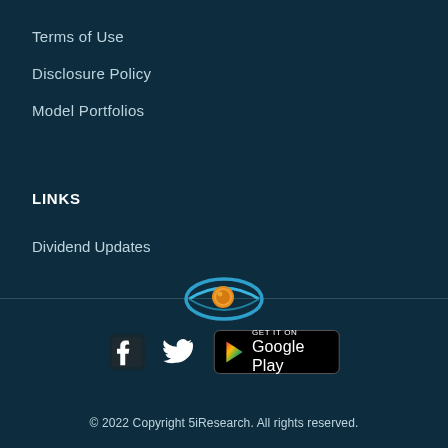Terms of Use
Disclosure Policy
Model Portfolios
LINKS
Dividend Updates
[Figure (logo): 5iResearch eye logo — a blue arc forming an eye shape with an orange coin/pupil in the center]
[Figure (logo): Facebook icon (white F on dark background), Twitter bird icon, and Get it on Google Play badge]
© 2022 Copyright 5iResearch. All rights reserved.